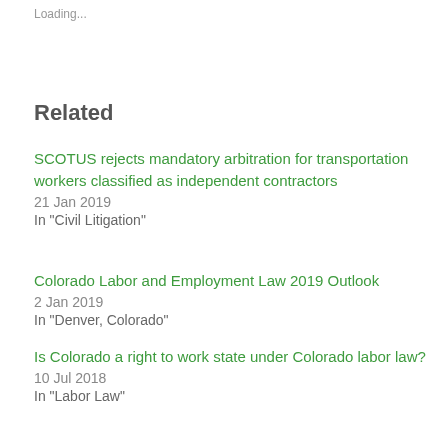Loading...
Related
SCOTUS rejects mandatory arbitration for transportation workers classified as independent contractors
21 Jan 2019
In "Civil Litigation"
Colorado Labor and Employment Law 2019 Outlook
2 Jan 2019
In "Denver, Colorado"
Is Colorado a right to work state under Colorado labor law?
10 Jul 2018
In "Labor Law"